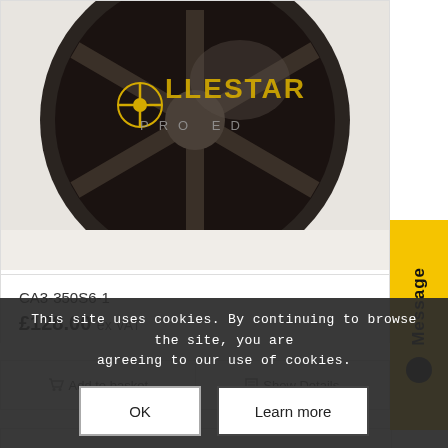[Figure (photo): Industrial axial fan/motor unit photographed against white background, with Pollestar Professional logo overlaid in gold and grey text]
CA3-350S6-1
£128.00 ex VAT
Add to basket
Show Details
[Figure (other): Yellow vertical Message tab with black bold text 'Message' rotated 90 degrees and a black circle icon]
This site uses cookies. By continuing to browse the site, you are agreeing to our use of cookies.
OK
Learn more